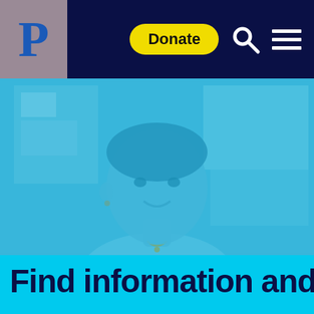[Figure (logo): Letter P logo in blue on grey/mauve background]
Donate
[Figure (photo): Woman with short dark hair and a slight smile, wearing a grey top and gold necklace, in front of a bulletin board. Image has a strong blue tint/overlay.]
Find information and